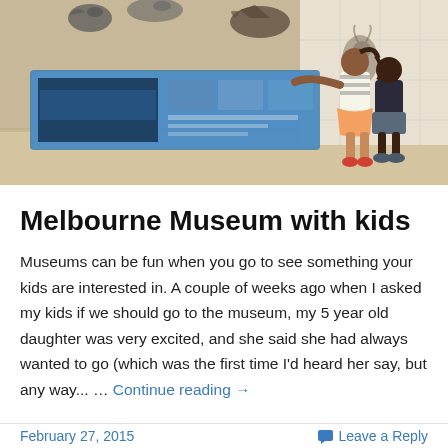[Figure (photo): Two children (a girl in striped shirt and pink skirt, a boy in dark shirt and shorts) touching an interactive display panel in a museum with wildlife murals on the wall behind them]
Melbourne Museum with kids
Museums can be fun when you go to see something your kids are interested in. A couple of weeks ago when I asked my kids if we should go to the museum, my 5 year old daughter was very excited, and she said she had always wanted to go (which was the first time I'd heard her say, but any way... … Continue reading →
February 27, 2015    Leave a Reply